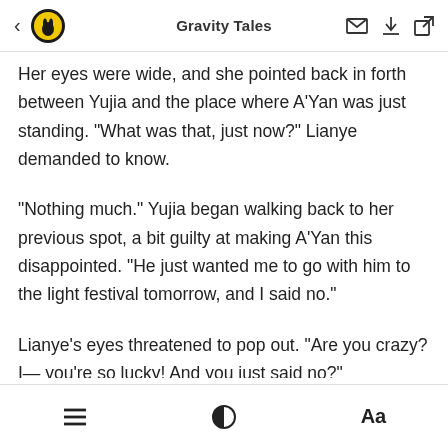Gravity Tales
Her eyes were wide, and she pointed back in forth between Yujia and the place where A'Yan was just standing. "What was that, just now?" Lianye demanded to know.
"Nothing much." Yujia began walking back to her previous spot, a bit guilty at making A'Yan this disappointed. "He just wanted me to go with him to the light festival tomorrow, and I said no."
Lianye's eyes threatened to pop out. "Are you crazy? I— you're so lucky! And you just said no?"